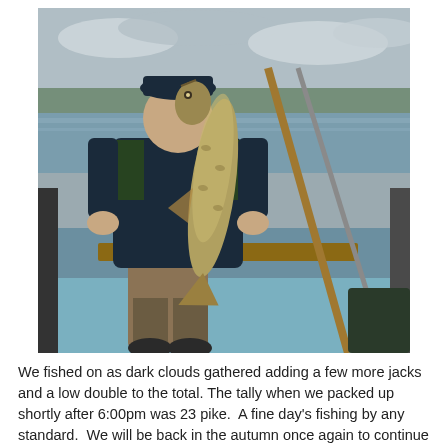[Figure (photo): A person sitting in a wooden boat on a lake, holding up a large pike fish with both hands. The person is wearing a dark fishing jacket and shorts. Fishing rods are visible in the boat. The background shows water and trees under a cloudy sky.]
We fished on as dark clouds gathered adding a few more jacks and a low double to the total. The tally when we packed up shortly after 6:00pm was 23 pike.  A fine day's fishing by any standard.  We will be back in the autumn once again to continue chasing dreams and perhaps catching them.